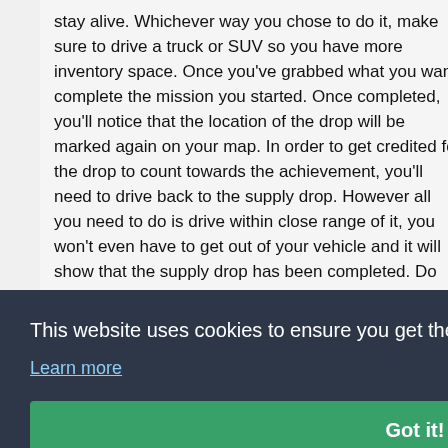stay alive. Whichever way you chose to do it, make sure to drive a truck or SUV so you have more inventory space. Once you've grabbed what you want, complete the mission you started. Once completed, you'll notice that the location of the drop will be marked again on your map. In order to get credited for the drop to count towards the achievement, you'll need to drive back to the supply drop. However all you need to do is drive within close range of it, you won't even have to get out of your vehicle and it will show that the supply drop has been completed. Do this 5 times and the
This website uses cookies to ensure you get the best experience on our website.
Learn more
Got it!
Dreams.
open n nity or facility built. Running over enemies head on will